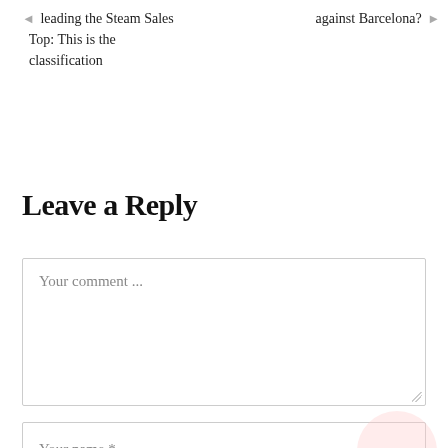◄  leading the Steam Sales Top: This is the classification
against Barcelona? ►
Leave a Reply
Your comment ...
Your name *
Your email *